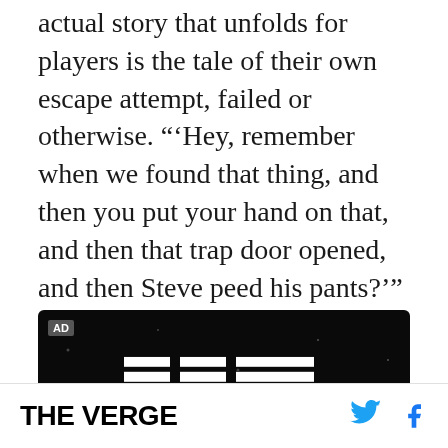actual story that unfolds for players is the tale of their own escape attempt, failed or otherwise. "'Hey, remember when we found that thing, and then you put your hand on that, and then that trap door opened, and then Steve peed his pants?'" Martin asked. "That's the story we tell in escape rooms. We create an environment where the players almost create the experience themselves."
[Figure (logo): IBM advertisement banner with IBM logo in white stripes on dark/black background with AD label]
THE VERGE